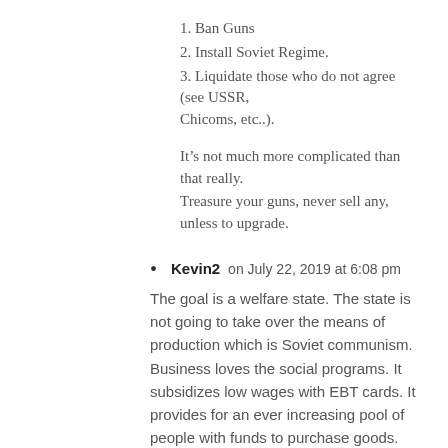1. Ban Guns
2. Install Soviet Regime.
3. Liquidate those who do not agree (see USSR, Chicoms, etc..).
It's not much more complicated than that really. Treasure your guns, never sell any, unless to upgrade.
Kevin2 on July 22, 2019 at 6:08 pm
The goal is a welfare state. The state is not going to take over the means of production which is Soviet communism. Business loves the social programs. It subsidizes low wages with EBT cards. It provides for an ever increasing pool of people with funds to purchase goods. TPTB who fund these “Progressives” such as Soros are not communists. Totalitarianism has been used synonymously with communism. While communism is totalitarian it has no exclusivity over it. We’re heading into a